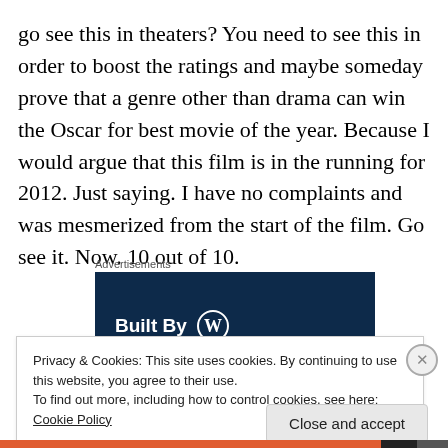go see this in theaters? You need to see this in order to boost the ratings and maybe someday prove that a genre other than drama can win the Oscar for best movie of the year. Because I would argue that this film is in the running for 2012. Just saying. I have no complaints and was mesmerized from the start of the film. Go see it. Now. 10 out of 10.
Advertisements
[Figure (logo): Built By WordPress logo on dark navy background]
Privacy & Cookies: This site uses cookies. By continuing to use this website, you agree to their use.
To find out more, including how to control cookies, see here: Cookie Policy
Close and accept